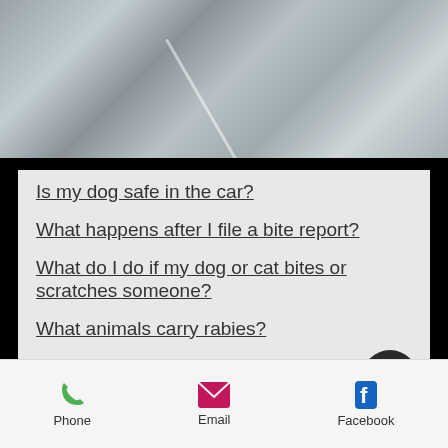[Figure (photo): Close-up photo of a car window or icy surface with a diagonal line/crease visible]
Is my dog safe in the car?
What happens after I file a bite report?
What do I do if my dog or cat bites or scratches someone?
What animals carry rabies?
How do I file a complaint about a loose animal?
How do I file a complaint about barking dogs?
What do I have to do to reclaim my
Phone    Email    Facebook